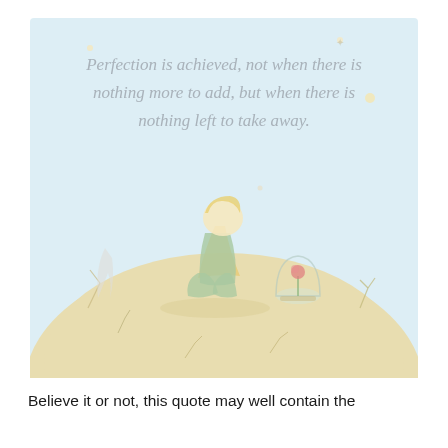[Figure (illustration): Illustration of the Little Prince sitting on a small planet/asteroid, hugging his knees, with a rose under a glass dome beside him. The sky is light blue with small stars. A quote reads: 'Perfection is achieved, not when there is nothing more to add, but when there is nothing left to take away.' The planet surface is sandy beige with small plant/flower sketches.]
Believe it or not, this quote may well contain the